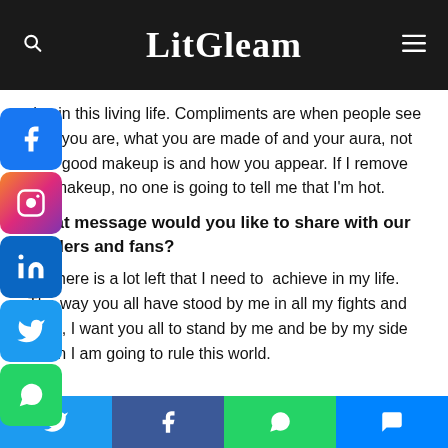LitGleam
day in this living life. Compliments are when people see who you are, what you are made of and your aura, not how good makeup is and how you appear. If I remove my makeup, no one is going to tell me that I'm hot.
What message would you like to share with our readers and fans?
A: There is a lot left that I need to achieve in my life. The way you all have stood by me in all my fights and wars, I want you all to stand by me and be by my side when I am going to rule this world.
Social share bar: Twitter, Facebook, WhatsApp, Messenger